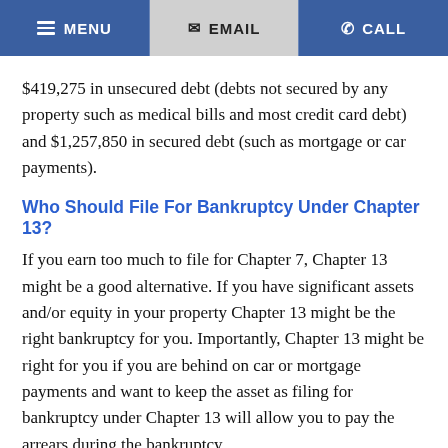MENU  EMAIL  CALL
$419,275 in unsecured debt (debts not secured by any property such as medical bills and most credit card debt) and $1,257,850 in secured debt (such as mortgage or car payments).
Who Should File For Bankruptcy Under Chapter 13?
If you earn too much to file for Chapter 7, Chapter 13 might be a good alternative. If you have significant assets and/or equity in your property Chapter 13 might be the right bankruptcy for you. Importantly, Chapter 13 might be right for you if you are behind on car or mortgage payments and want to keep the asset as filing for bankruptcy under Chapter 13 will allow you to pay the arrears during the bankruptcy